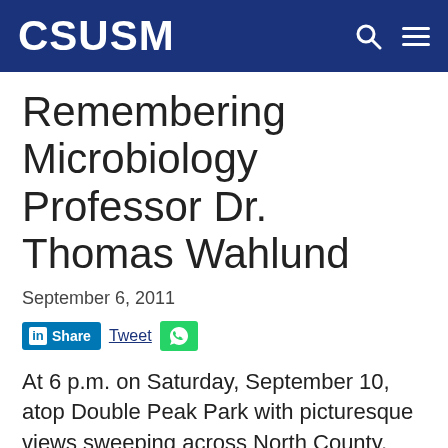CSUSM
Remembering Microbiology Professor Dr. Thomas Wahlund
September 6, 2011
Share  Tweet
At 6 p.m. on Saturday, September 10, atop Double Peak Park with picturesque views sweeping across North County, members of the CSUSM campus will be joined by family and friends to dedicate a community telescope and topographical installation in memory of Microbiology Professor Dr. Thomas Wahlund, who last...